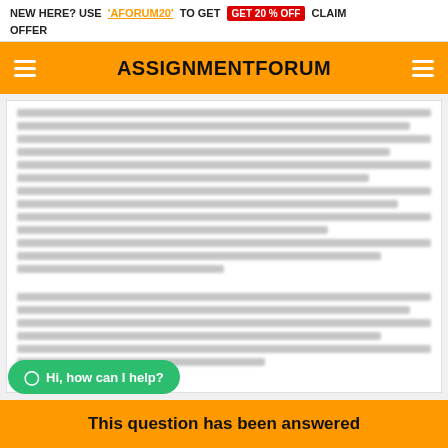NEW HERE? USE 'AFORUM20' TO GET GET 20 % OFF CLAIM OFFER
ASSIGNMENTFORUM
[Figure (screenshot): Blurred/redacted body text content, two blocks of greyed-out unreadable text]
Hi, how can I help?
This question has been answered